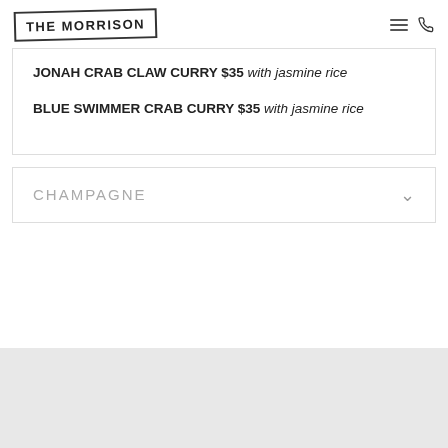[Figure (logo): The Morrison restaurant logo in a tilted rectangular border with bold uppercase text]
JONAH CRAB CLAW CURRY $35 with jasmine rice
BLUE SWIMMER CRAB CURRY $35 with jasmine rice
CHAMPAGNE
[Figure (other): Gray footer background area]